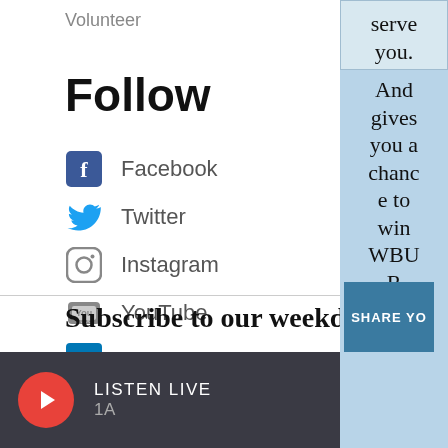Volunteer
Follow
Facebook
Twitter
Instagram
YouTube
LinkedIn
Subscribe to our weekda
serve you. And gives you a chance to win WBUR swag!
SHARE YO
LISTEN LIVE
1A